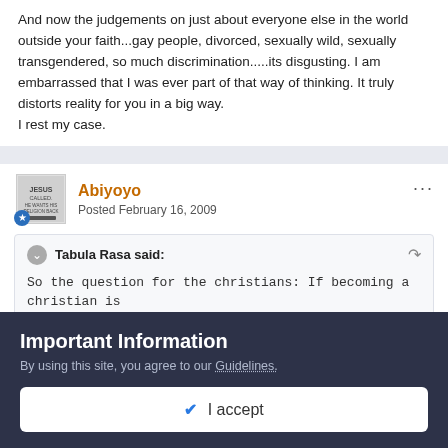And now the judgements on just about everyone else in the world outside your faith...gay people, divorced, sexually wild, sexually transgendered, so much discrimination.....its disgusting. I am embarrassed that I was ever part of that way of thinking. It truly distorts reality for you in a big way.
I rest my case.
Abiyoyo
Posted February 16, 2009
Tabula Rasa said:
So the question for the christians: If becoming a christian is
Important Information
By using this site, you agree to our Guidelines.
✔ I accept